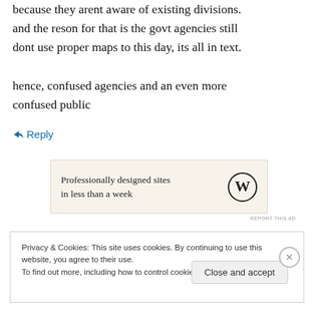because they arent aware of existing divisions. and the reson for that is the govt agencies still dont use proper maps to this day, its all in text.

hence, confused agencies and an even more confused public
↳ Reply
[Figure (screenshot): WordPress advertisement banner: 'Professionally designed sites in less than a week' with WordPress logo]
REPORT THIS AD
Privacy & Cookies: This site uses cookies. By continuing to use this website, you agree to their use. To find out more, including how to control cookies, see here: Cookie Policy
Close and accept